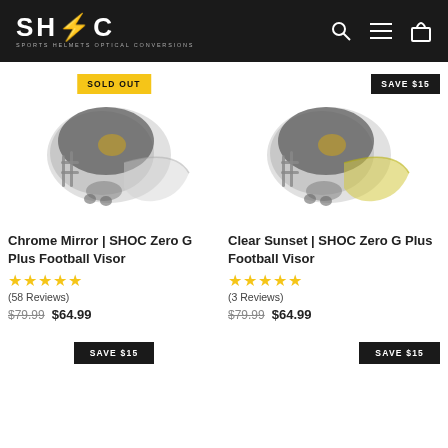SHOC — Sports Helmets Optical Conversions
[Figure (photo): Football helmet with chrome mirror visor — SOLD OUT badge]
Chrome Mirror | SHOC Zero G Plus Football Visor
★★★★★ (58 Reviews)
$79.99  $64.99
[Figure (photo): Football helmet with clear sunset visor — SAVE $15 badge]
Clear Sunset | SHOC Zero G Plus Football Visor
★★★★★ (3 Reviews)
$79.99  $64.99
SAVE $15
SAVE $15